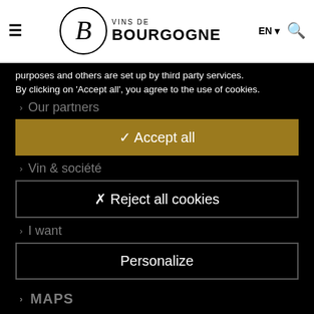VINS DE BOURGOGNE — EN — Search
purposes and others are set up by third party services. By clicking on 'Accept all', you agree to the use of cookies.
Our partners
✓ Accept all
Vin & société
✗ Reject all cookies
I want
Personalize
MAPS
Press
Professional access
Educators